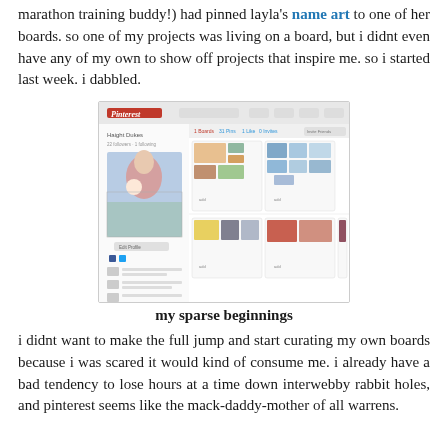marathon training buddy!) had pinned layla's name art to one of her boards. so one of my projects was living on a board, but i didnt even have any of my own to show off projects that inspire me. so i started last week. i dabbled.
[Figure (screenshot): Screenshot of a Pinterest profile page showing boards with pinned images including photos of a woman with a baby, food, crafts, and other items. The profile belongs to someone named Haight Dukes.]
my sparse beginnings
i didnt want to make the full jump and start curating my own boards because i was scared it would kind of consume me. i already have a bad tendency to lose hours at a time down interwebby rabbit holes, and pinterest seems like the mack-daddy-mother of all warrens.